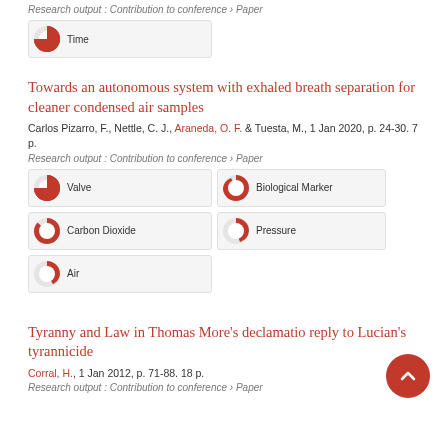Research output: Contribution to conference › Paper
[Figure (infographic): Badge showing 100% Time keyword]
Towards an autonomous system with exhaled breath separation for cleaner condensed air samples
Carlos Pizarro, F., Nettle, C. J., Araneda, O. F. & Tuesta, M., 1 Jan 2020, p. 24-30. 7 p.
Research output: Contribution to conference › Paper
[Figure (infographic): Badge showing 100% Valve keyword]
[Figure (infographic): Badge showing ~80% Biological Marker keyword]
[Figure (infographic): Badge showing ~75% Carbon Dioxide keyword]
[Figure (infographic): Badge showing ~50% Pressure keyword]
[Figure (infographic): Badge showing ~45% Air keyword]
Tyranny and Law in Thomas More's declamatio reply to Lucian's tyrannicide
Corral, H., 1 Jan 2012, p. 71-88. 18 p.
Research output: Contribution to conference › Paper